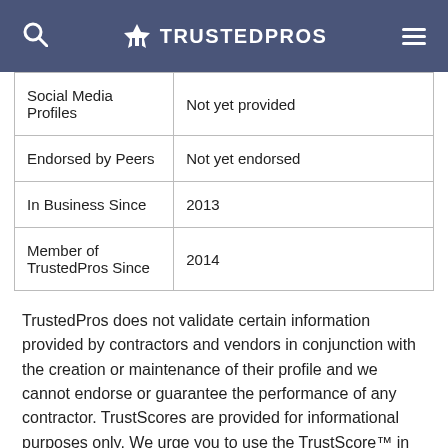TRUSTEDPROS
| Social Media Profiles | Not yet provided |
| Endorsed by Peers | Not yet endorsed |
| In Business Since | 2013 |
| Member of TrustedPros Since | 2014 |
TrustedPros does not validate certain information provided by contractors and vendors in conjunction with the creation or maintenance of their profile and we cannot endorse or guarantee the performance of any contractor. TrustScores are provided for informational purposes only. We urge you to use the TrustScore™ in conjunction with the tips provided in our Hiring Guide to maximize the